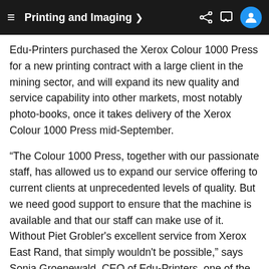Printing and Imaging >
Edu-Printers purchased the Xerox Colour 1000 Press for a new printing contract with a large client in the mining sector, and will expand its new quality and service capability into other markets, most notably photo-books, once it takes delivery of the Xerox Colour 1000 Press mid-September.
“The Colour 1000 Press, together with our passionate staff, has allowed us to expand our service offering to current clients at unprecedented levels of quality. But we need good support to ensure that the machine is available and that our staff can make use of it. Without Piet Grobler's excellent service from Xerox East Rand, that simply wouldn't be possible,” says Sonja Groenewald, CEO of Edu-Printers, one of the six companies owned and managed by Groenewald.